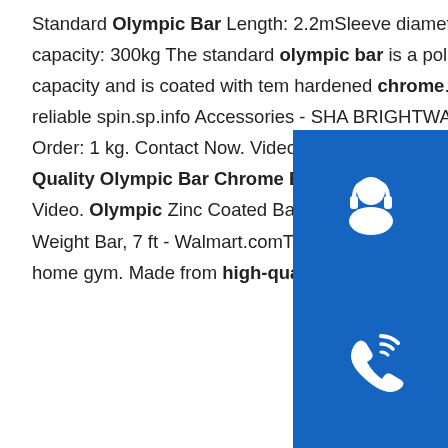Standard Olympic Bar Length: 2.2mSleeve diameter: 50mm (to fit olympic plates)Weight: 20kgWeight capacity: 300kg The standard olympic bar is a polished chrome bar with marks. It has a 300kg capacity and is coated with temp hardened chrome. The bar includes high quality ball bearings for a reliable spin.sp.info Accessories - SHAN BRIGHTWAY FITNESS EQUIPMENT …FOB Price: U / kg. Min. Order: 1 kg. Contact Now. Video. Barbell Bu Plate Rubber Dumbbell Barbell in in Sports Equipmen Quality Olympic Bar Chrome Bar FOB Price: US $90-150 / Piece. Min. Order: 1 Piece. Contact Now. Video. Olympic Zinc Coated Barbell Bars Fitness Equipmentsp.info CAP Barbell - Chrome Olympic Weight Bar, 7 ft - Walmart.comThe CAP Barbell Chrome 7 ft Olympic Weight Bar is an ideal bar for any home gym. Made from high-quality steel with a chrome
[Figure (illustration): Three blue square icons stacked vertically on the right side: a customer support/headset icon, a phone/call icon, and a Skype logo icon.]